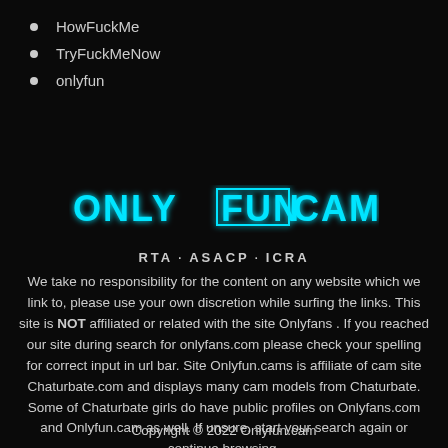HowFuckMe
TryFuckMeNow
onlyfun
[Figure (logo): ONLYFUNCAM logo in cyan neon style text on black background]
RTA · ASACP · ICRA
We take no responsibility for the content on any website which we link to, please use your own discretion while surfing the links. This site is NOT affiliated or related with the site Onlyfans . If you reached our site during search for onlyfans.com please check your spelling for correct input in url bar. Site Onlyfun.cams is affiliate of cam site Chaturbate.com and displays many cam models from Chaturbate. Some of Chaturbate girls do have public profiles on Onlyfans.com and Onlyfun.cam as well. If unsure, start your search again or continue browsing.
Copyright © 2022 Onlyfun.cam